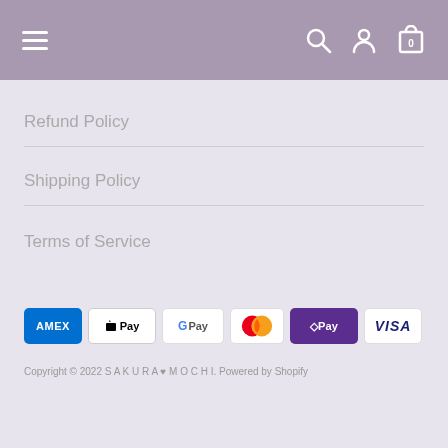Navigation bar with hamburger menu, search, account, and cart icons
Refund Policy
Shipping Policy
Terms of Service
[Figure (infographic): Payment method icons: American Express, Apple Pay, Google Pay, Mastercard, Shop Pay, Visa]
Copyright © 2022 S A K U R A ♥ M O C H I. Powered by Shopify